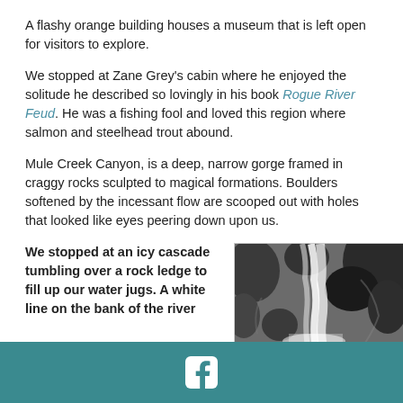A flashy orange building houses a museum that is left open for visitors to explore.
We stopped at Zane Grey's cabin where he enjoyed the solitude he described so lovingly in his book Rogue River Feud. He was a fishing fool and loved this region where salmon and steelhead trout abound.
Mule Creek Canyon, is a deep, narrow gorge framed in craggy rocks sculpted to magical formations. Boulders softened by the incessant flow are scooped out with holes that looked like eyes peering down upon us.
We stopped at an icy cascade tumbling over a rock ledge to fill up our water jugs. A white line on the bank of the river
[Figure (photo): A waterfall cascading over rocky ledges with dark wet rocks and white rushing water]
Facebook icon footer bar